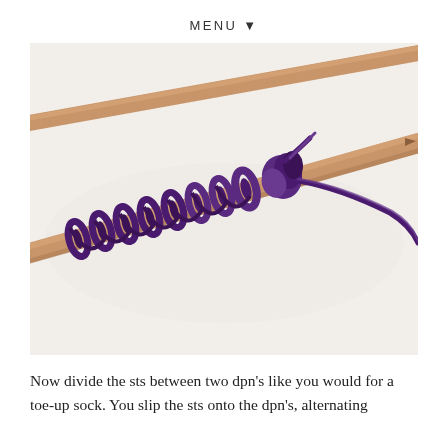MENU ▼
[Figure (photo): Close-up photo of two wooden knitting needles with purple yarn stitches cast on, showing alternating loops of dark purple yarn wrapped around the wooden needle shaft. A second needle crosses behind. The yarn tail hangs to the right.]
Now divide the sts between two dpn's like you would for a toe-up sock. You slip the sts onto the dpn's, alternating